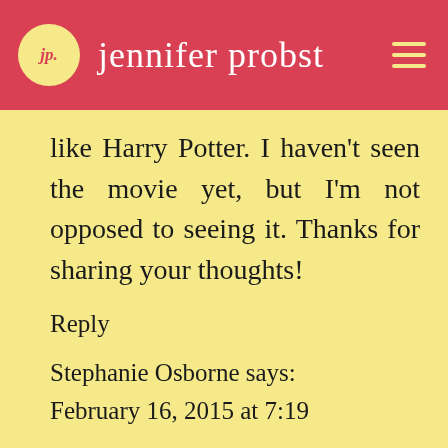jp. jennifer probst
like Harry Potter. I haven't seen the movie yet, but I'm not opposed to seeing it. Thanks for sharing your thoughts!
Reply
Stephanie Osborne says: February 16, 2015 at 7:19